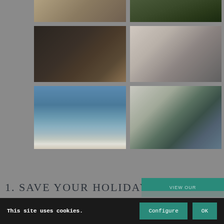[Figure (photo): Grid of six hotel/resort photos: outdoor path, swimming pool, chef plating food, gym with treadmills, beach waves, modern living room with blue sofas]
1. SAVE YOUR HOLIDAY
[Figure (other): Teal VIEW OUR button partially visible]
This site uses cookies.
Configure
OK